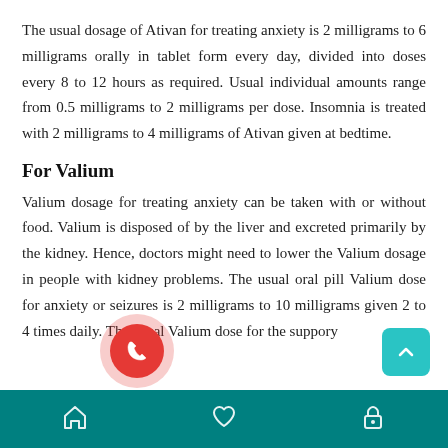The usual dosage of Ativan for treating anxiety is 2 milligrams to 6 milligrams orally in tablet form every day, divided into doses every 8 to 12 hours as required. Usual individual amounts range from 0.5 milligrams to 2 milligrams per dose. Insomnia is treated with 2 milligrams to 4 milligrams of Ativan given at bedtime.
For Valium
Valium dosage for treating anxiety can be taken with or without food. Valium is disposed of by the liver and excreted primarily by the kidney. Hence, doctors might need to lower the Valium dosage in people with kidney problems. The usual oral pill Valium dose for anxiety or seizures is 2 milligrams to 10 milligrams given 2 to 4 times daily. The usual Valium dose for the suppository
Navigation bar with home, heart, and lock icons